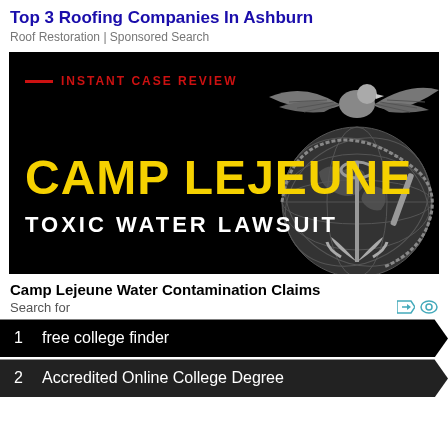Top 3 Roofing Companies In Ashburn
Roof Restoration | Sponsored Search
[Figure (illustration): Dark background banner with USMC eagle globe and anchor emblem on right side. Red dash and 'INSTANT CASE REVIEW' text at top left. Large yellow bold text 'CAMP LEJEUNE' and white bold text 'TOXIC WATER LAWSUIT' on left side.]
Camp Lejeune Water Contamination Claims
Search for
1    free college finder
2    Accredited Online College Degree